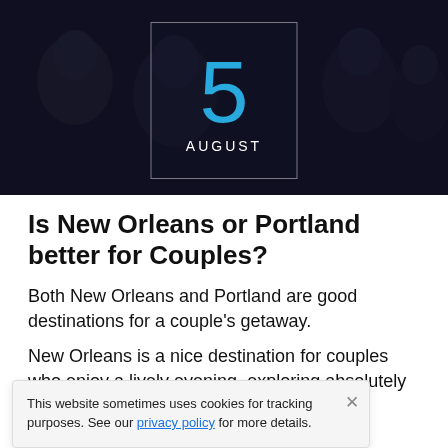[Figure (photo): Dark-tinted group photo of people in formal attire, with a centered date box showing '5 AUGUST' in white border outline. The number 5 is in bright blue, AUGUST in white uppercase letters.]
Is New Orleans or Portland better for Couples?
Both New Orleans and Portland are good destinations for a couple's getaway.
New Orleans is a nice destination for couples who enjoy a lively evening, exploring absolutely ... will enjoy a visit to New Orleans...
This website sometimes uses cookies for tracking purposes. See our privacy policy for more details.